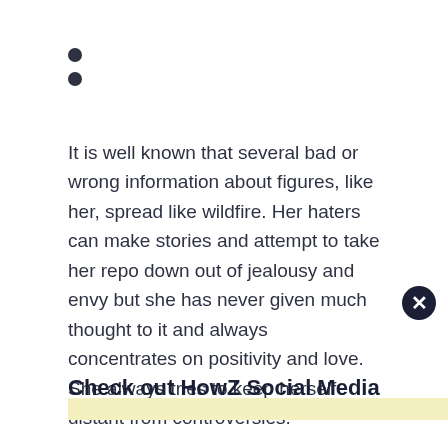•
•
It is well known that several bad or wrong information about figures, like her, spread like wildfire. Her haters can make stories and attempt to take her repo down out of jealousy and envy but she has never given much thought to it and always concentrates on positivity and love. She always tries to keep herself distant from controversies.
Check out HowZ Social Media